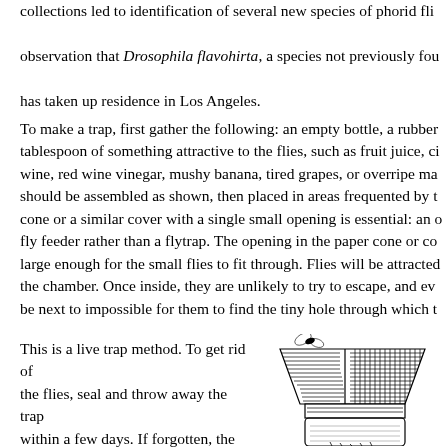collections led to identification of several new species of phorid flies, and the observation that Drosophila flavohirta, a species not previously found in the area, has taken up residence in Los Angeles.
To make a trap, first gather the following: an empty bottle, a rubber stopper, a tablespoon of something attractive to the flies, such as fruit juice, cider vinegar, wine, red wine vinegar, mushy banana, tired grapes, or overripe mango. The trap should be assembled as shown, then placed in areas frequented by the flies. The cone or a similar cover with a single small opening is essential: an open dish is a fly feeder rather than a flytrap. The opening in the paper cone or cover must be large enough for the small flies to fit through. Flies will be attracted and enter the chamber. Once inside, they are unlikely to try to escape, and even if they try, it will be next to impossible for them to find the tiny hole through which they entered.
This is a live trap method. To get rid of the flies, seal and throw away the trap within a few days. If forgotten, the trap is likely to become the birthplace of a next generation of flies. Before tossing the trap out, the curious might examine the flies
[Figure (illustration): A line drawing illustration of a fly trap bottle with a paper cone on top and a small fly depicted above it. The cone has diagonal hatching pattern and the bottle neck area is also shown with hatching.]